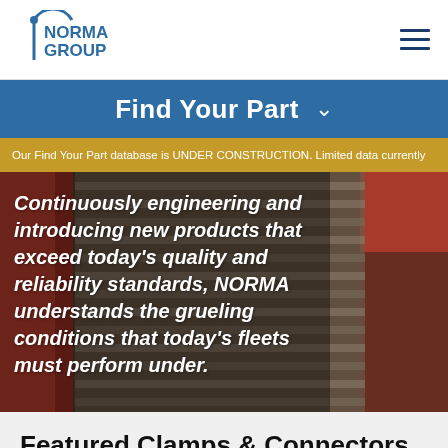NORMA GROUP logo and navigation
Find Your Part
Our Find Your Part database is UNDER CONSTRUCTION. Limited data currently
Continuously engineering and introducing new products that exceed today's quality and reliability standards, NORMA understands the grueling conditions that today's fleets must perform under.
Featured Clamps & Connectors